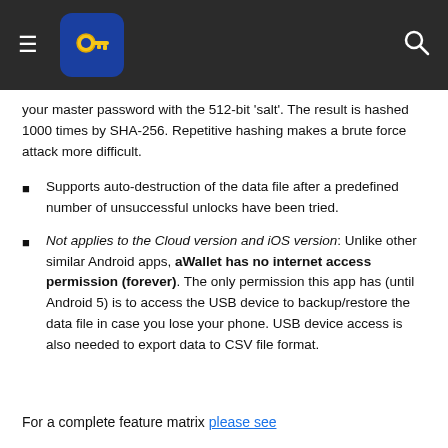aWallet app navigation header with hamburger menu and search icon
your master password with the 512-bit 'salt'. The result is hashed 1000 times by SHA-256. Repetitive hashing makes a brute force attack more difficult.
Supports auto-destruction of the data file after a predefined number of unsuccessful unlocks have been tried.
Not applies to the Cloud version and iOS version: Unlike other similar Android apps, aWallet has no internet access permission (forever). The only permission this app has (until Android 5) is to access the USB device to backup/restore the data file in case you lose your phone. USB device access is also needed to export data to CSV file format.
For a complete feature matrix please see